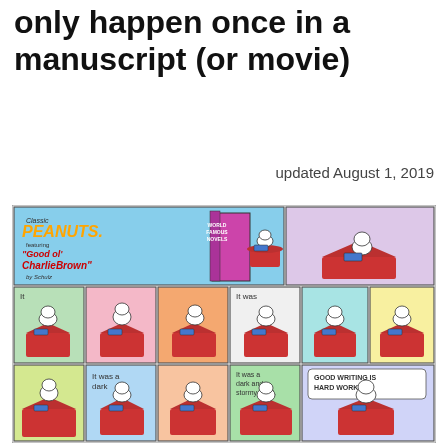…and a lot of some things can only happen once in a manuscript (or movie)
updated August 1, 2019
[Figure (illustration): Peanuts comic strip featuring Snoopy writing 'It was a dark and stormy night' on his typewriter atop his doghouse. Classic Peanuts comic with multiple panels showing Snoopy struggling to write. Final panel reads 'GOOD WRITING IS HARD WORK!']